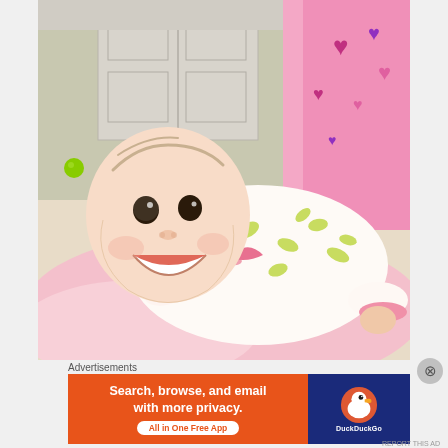[Figure (photo): A smiling baby lying on their stomach on a pink blanket, wearing a white onesie with green and pink patterns. The background shows a room with a white closet door and a pink tent/playpen with heart decorations. A green ball is visible in the background.]
Advertisements
[Figure (infographic): DuckDuckGo advertisement banner. Left side orange background with white bold text: 'Search, browse, and email with more privacy.' and a white button saying 'All in One Free App'. Right side dark blue background with the DuckDuckGo duck logo and 'DuckDuckGo' text in white.]